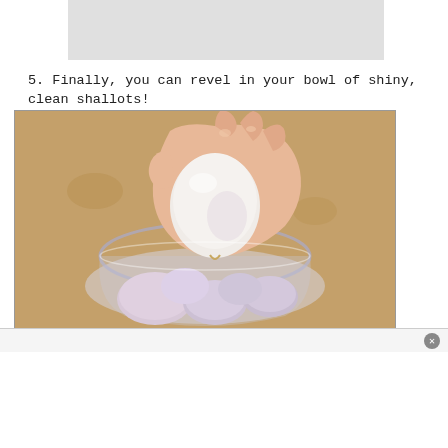[Figure (photo): Gray placeholder rectangle at top of page, representing a previous image]
5. Finally, you can revel in your bowl of shiny, clean shallots!
[Figure (photo): Photo of a hand holding a peeled shallot over a glass bowl filled with multiple peeled shallots on a wooden cutting board background]